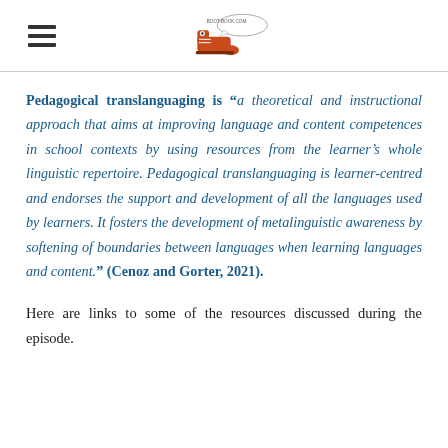[logo: boot-book.com with illustrated boot mascot and hamburger menu icon]
Pedagogical translanguaging is “a theoretical and instructional approach that aims at improving language and content competences in school contexts by using resources from the learner’s whole linguistic repertoire. Pedagogical translanguaging is learner-centred and endorses the support and development of all the languages used by learners. It fosters the development of metalinguistic awareness by softening of boundaries between languages when learning languages and content.” (Cenoz and Gorter, 2021).
Here are links to some of the resources discussed during the episode.